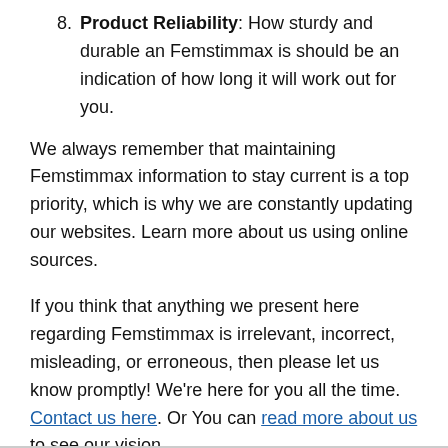8. Product Reliability: How sturdy and durable an Femstimmax is should be an indication of how long it will work out for you.
We always remember that maintaining Femstimmax information to stay current is a top priority, which is why we are constantly updating our websites. Learn more about us using online sources.
If you think that anything we present here regarding Femstimmax is irrelevant, incorrect, misleading, or erroneous, then please let us know promptly! We're here for you all the time. Contact us here. Or You can read more about us to see our vision.